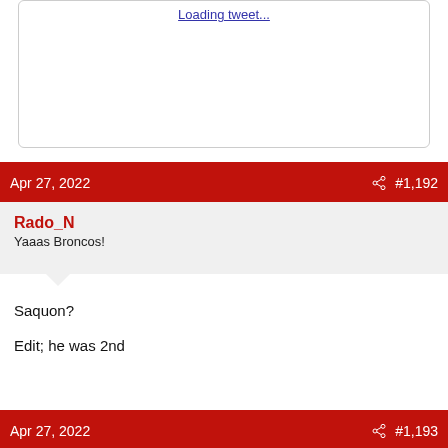[Figure (screenshot): Tweet embed placeholder with 'Loading tweet...' link]
Apr 27, 2022   #1,192
Rado_N
Yaaas Broncos!
Saquon?

Edit; he was 2nd
Apr 27, 2022   #1,193